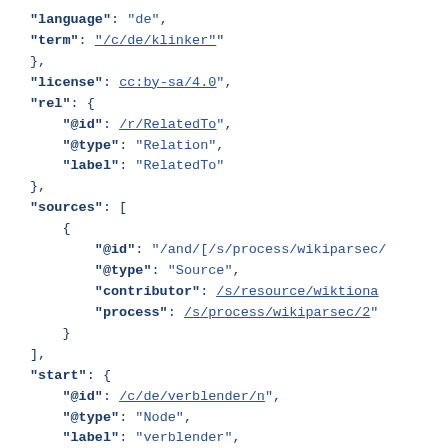JSON code snippet showing language, term, license, rel, sources, and start fields